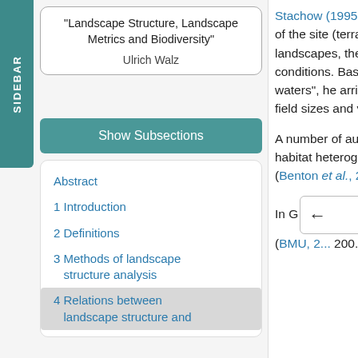"Landscape Structure, Landscape Metrics and Biodiversity" Ulrich Walz
Show Subsections
Abstract
1 Introduction
2 Definitions
3 Methods of landscape structure analysis
4 Relations between landscape structure and
Stachow (1995 ●) ha... change. As a complex of f... conditions of the site (terra... indicator system, therefore... of landscapes, the diversi... that increasing naturally th... conditions. Based on the c... between the highest and l... waters", he arrives at state... variety of land use is ident... field sizes and variety of c... natural conditions of sites,
A number of authors ha... species diversity in monito... habitat heterogeneity play... and land use parameters,... (Benton et al., 2003; Tews...
In Go... ifau... (BMU, 2... 200...